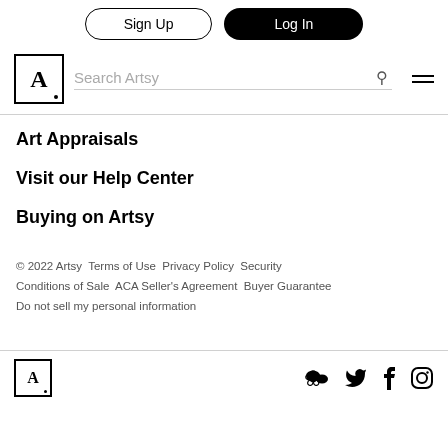Sign Up | Log In | Search Artsy
Art Appraisals
Visit our Help Center
Buying on Artsy
© 2022 Artsy  Terms of Use  Privacy Policy  Security  Conditions of Sale  ACA Seller's Agreement  Buyer Guarantee  Do not sell my personal information